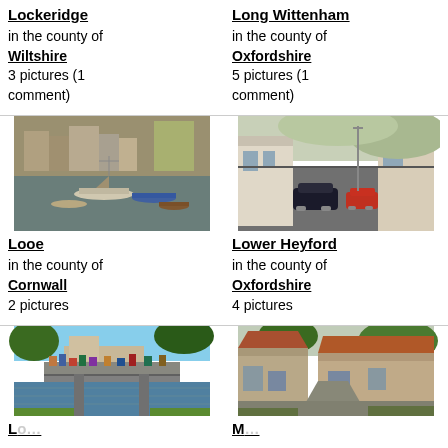Lockeridge
in the county of Wiltshire
3 pictures (1 comment)
Long Wittenham
in the county of Oxfordshire
5 pictures (1 comment)
[Figure (photo): Harbour with boats moored on calm water, buildings in background — Looe, Cornwall]
Looe
in the county of Cornwall
2 pictures
[Figure (photo): Narrow village street with parked cars, white buildings and hills — Lower Heyford, Oxfordshire]
Lower Heyford
in the county of Oxfordshire
4 pictures
[Figure (photo): River or stream with bridge and crowd of people, trees and buildings — partial view]
[Figure (photo): Rural lane with stone farm buildings and trees — partial view]